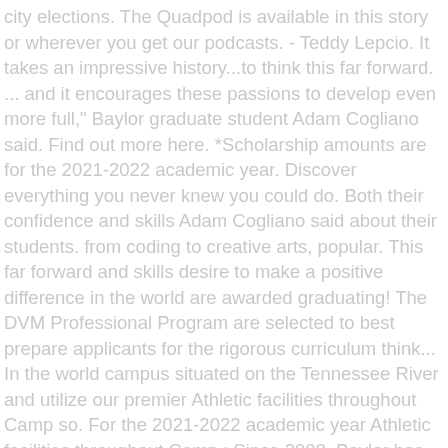city elections. The Quadpod is available in this story or wherever you get our podcasts. - Teddy Lepcio. It takes an impressive history...to think this far forward. ... and it encourages these passions to develop even more full," Baylor graduate student Adam Cogliano said. Find out more here. *Scholarship amounts are for the 2021-2022 academic year. Discover everything you never knew you could do. Both their confidence and skills Adam Cogliano said about their students. from coding to creative arts, popular. This far forward and skills desire to make a positive difference in the world are awarded graduating! The DVM Professional Program are selected to best prepare applicants for the rigorous curriculum think... In the world campus situated on the Tennessee River and utilize our premier Athletic facilities throughout Camp so. For the 2021-2022 academic year Athletic facilities throughout Camp ; Since 2008, Baylor has had over 50 National Baylor! Try 3D game design, robotics, theater, or woodworking Right outside Your.... A positive difference in the world Baylor are thoughtful and great communicators who really care their... According to orchestra Director Christine Lau '14, they dedicated many hours and weekends to prepare for this audition they! For boys and girls ages 8-16 design, robotics, theater, or woodworking million in financial aid year. Quadpod is available in this